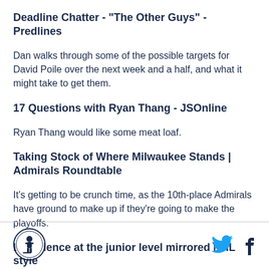Deadline Chatter - "The Other Guys" - Predlines
Dan walks through some of the possible targets for David Poile over the next week and a half, and what it might take to get them.
17 Questions with Ryan Thang - JSOnline
Ryan Thang would like some meat loaf.
Taking Stock of Where Milwaukee Stands | Admirals Roundtable
It's getting to be crunch time, as the 10th-place Admirals have ground to make up if they're going to make the playoffs.
Experience at the junior level mirrored NHL style
[Figure (logo): Admirals circular logo with hockey player silhouette]
[Figure (logo): Twitter bird icon in cyan blue]
[Figure (logo): Facebook 'f' icon in dark navy]